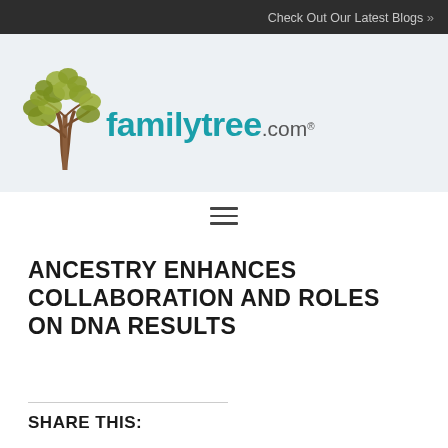Check Out Our Latest Blogs »
[Figure (logo): familytree.com logo with tree illustration and teal text]
[Figure (other): Hamburger menu icon (three horizontal lines)]
ANCESTRY ENHANCES COLLABORATION AND ROLES ON DNA RESULTS
SHARE THIS: